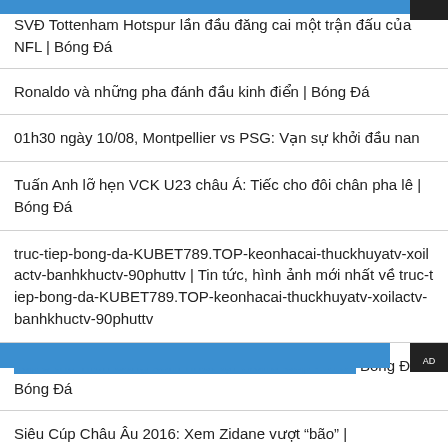SVĐ Tottenham Hotspur lần đầu đăng cai một trận đấu của NFL | Bóng Đá
Ronaldo và những pha đánh đầu kinh điển | Bóng Đá
01h30 ngày 10/08, Montpellier vs PSG: Vạn sự khởi đầu nan
Tuấn Anh lỡ hẹn VCK U23 châu Á: Tiếc cho đôi chân pha lê | Bóng Đá
truc-tiep-bong-da-KUBET789.TOP-keonhacai-thuckhuyatv-xoilactv-banhkhuctv-90phuttv | Tin tức, hình ảnh mới nhất về truc-tiep-bong-da-KUBET789.TOP-keonhacai-thuckhuyatv-xoilactv-banhkhuctv-90phuttv
Top 5 thủ môn đáng xem nhất tại World Cup 2018 | Bóng Đá
Siêu Cúp Châu Âu 2016: Xem Zidane vượt "bão" |